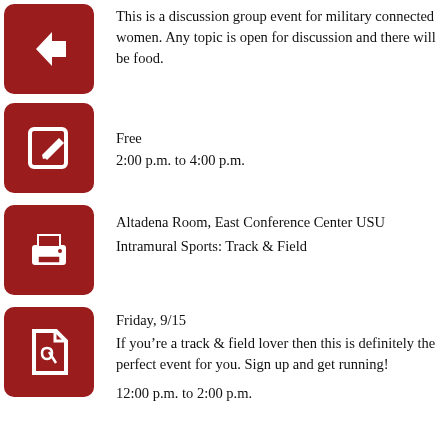This is a discussion group event for military connected women. Any topic is open for discussion and there will be food.
2:00 p.m. to 4:00 p.m.
Free
Altadena Room, East Conference Center USU
Intramural Sports: Track & Field
Friday, 9/15
If you're a track & field lover then this is definitely the perfect event for you. Sign up and get running!
12:00 p.m. to 2:00 p.m.
Purchase an IM Pass at IMLeagues.com by September 15th
Athletics Track (by the F8 parking lot)
California Vegetarian Food Festival
Saturday, 9/16
If you are a vegetarian who wants to learn more about a healthy